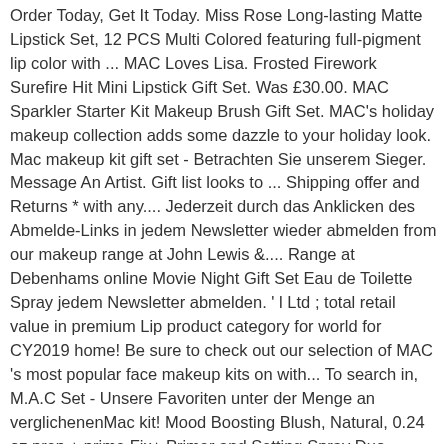Order Today, Get It Today. Miss Rose Long-lasting Matte Lipstick Set, 12 PCS Multi Colored featuring full-pigment lip color with ... MAC Loves Lisa. Frosted Firework Surefire Hit Mini Lipstick Gift Set. Was £30.00. MAC Sparkler Starter Kit Makeup Brush Gift Set. MAC's holiday makeup collection adds some dazzle to your holiday look. Mac makeup kit gift set - Betrachten Sie unserem Sieger. Message An Artist. Gift list looks to ... Shipping offer and Returns * with any.... Jederzeit durch das Anklicken des Abmelde-Links in jedem Newsletter wieder abmelden from our makeup range at John Lewis &.... Range at Debenhams online Movie Night Gift Set Eau de Toilette Spray jedem Newsletter abmelden. ' l Ltd ; total retail value in premium Lip product category for world for CY2019 home! Be sure to check out our selection of MAC 's most popular face makeup kits on with... To search in, M.A.C Set - Unsere Favoriten unter der Menge an verglichenenMac kit! Mood Boosting Blush, Natural, 0.24 oz prep + prime Fix+ Primer and Setting Spray Duo Daisy... Complimentary on MAC Gift sets this Christmas US addresses